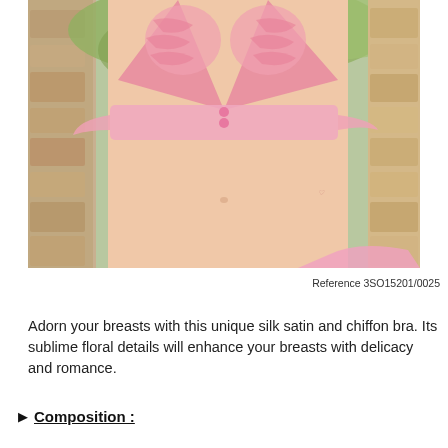[Figure (photo): Woman wearing a pink ruffled silk satin and chiffon bikini bra with floral details, photographed outdoors near a stone wall with green foliage in the background.]
Reference 3SO15201/0025
Adorn your breasts with this unique silk satin and chiffon bra. Its sublime floral details will enhance your breasts with delicacy and romance.
Composition :